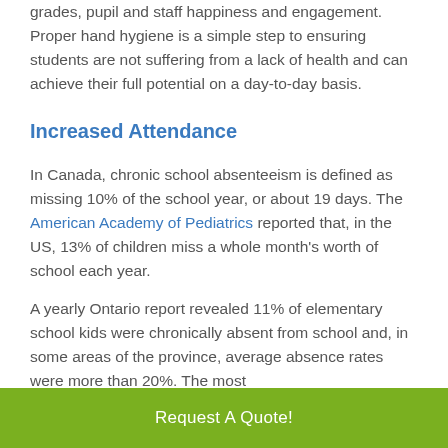grades, pupil and staff happiness and engagement. Proper hand hygiene is a simple step to ensuring students are not suffering from a lack of health and can achieve their full potential on a day-to-day basis.
Increased Attendance
In Canada, chronic school absenteeism is defined as missing 10% of the school year, or about 19 days. The American Academy of Pediatrics reported that, in the US, 13% of children miss a whole month's worth of school each year.
A yearly Ontario report revealed 11% of elementary school kids were chronically absent from school and, in some areas of the province, average absence rates were more than 20%. The most
Request A Quote!